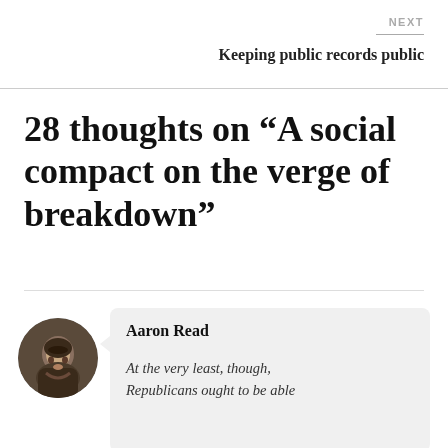NEXT
Keeping public records public
28 thoughts on “A social compact on the verge of breakdown”
Aaron Read
At the very least, though, Republicans ought to be able